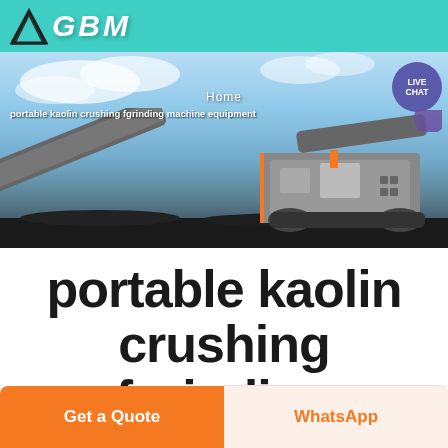[Figure (logo): GBM company logo with triangular arrow symbol and teal header bar]
[Figure (photo): Banner photo of portable kaolin crushing and grinding machine equipment on a job site with blue sky background. Navigation shows 'Home' link and 'LIVE CHAT' bubble. Breadcrumb text: portable kaolin crushing fgrinding machine equipment]
portable kaolin crushing fgrinding machine equipment
Get a Quote
WhatsApp